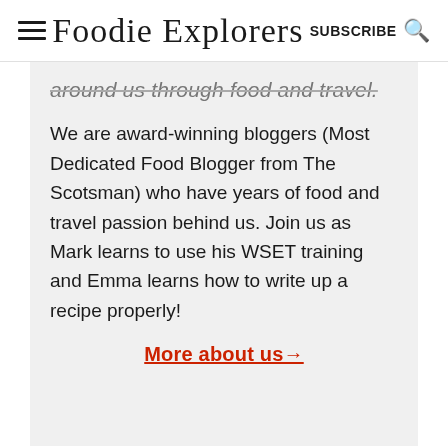Foodie Explorers | SUBSCRIBE
around us through food and travel.
We are award-winning bloggers (Most Dedicated Food Blogger from The Scotsman) who have years of food and travel passion behind us. Join us as Mark learns to use his WSET training and Emma learns how to write up a recipe properly!
More about us→